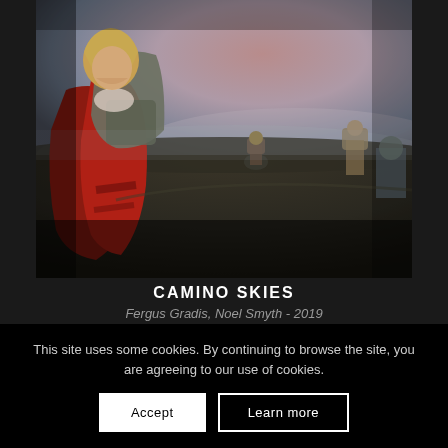[Figure (photo): Photograph of hikers on the Camino de Santiago trail at dusk/dawn. In the foreground, a woman with blonde hair wearing a red jacket and carrying a large backpack looks downward. In the background, other hikers with backpacks walk across an open field under a pinkish-purple sky.]
CAMINO SKIES
Fergus Gradis, Noel Smyth - 2019
This site uses some cookies. By continuing to browse the site, you are agreeing to our use of cookies.